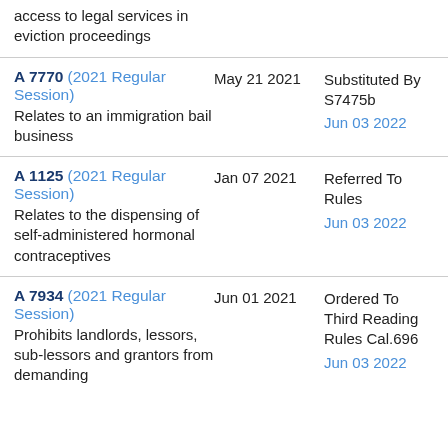access to legal services in eviction proceedings
A 7770 (2021 Regular Session) — May 21 2021 — Substituted By S7475b Jun 03 2022 — Relates to an immigration bail business
A 1125 (2021 Regular Session) — Jan 07 2021 — Referred To Rules Jun 03 2022 — Relates to the dispensing of self-administered hormonal contraceptives
A 7934 (2021 Regular Session) — Jun 01 2021 — Ordered To Third Reading Rules Cal.696 Jun 03 2022 — Prohibits landlords, lessors, sub-lessors and grantors from demanding